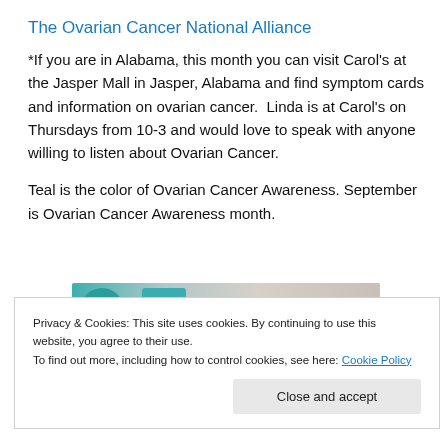The Ovarian Cancer National Alliance
*If you are in Alabama, this month you can visit Carol’s at the Jasper Mall in Jasper, Alabama and find symptom cards and information on ovarian cancer.  Linda is at Carol’s on Thursdays from 10-3 and would love to speak with anyone willing to listen about Ovarian Cancer.
Teal is the color of Ovarian Cancer Awareness. September is Ovarian Cancer Awareness month.
[Figure (photo): Partial image of teal/awareness related graphic, partially obscured by cookie banner]
Privacy & Cookies: This site uses cookies. By continuing to use this website, you agree to their use.
To find out more, including how to control cookies, see here: Cookie Policy
Close and accept